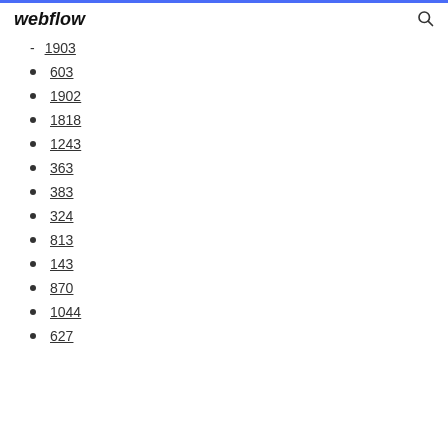webflow
1903
603
1902
1818
1243
363
383
324
813
143
870
1044
627